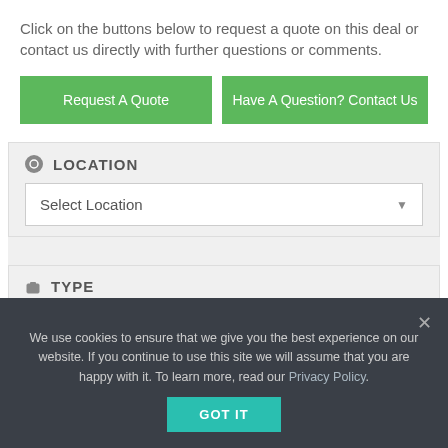Click on the buttons below to request a quote on this deal or contact us directly with further questions or comments.
[Figure (screenshot): Two green call-to-action buttons: 'Request A Quote' and 'Have A Question? Contact Us']
LOCATION
[Figure (screenshot): Dropdown selector labeled 'Select Location' with a down arrow]
TYPE
[Figure (screenshot): Dropdown selector labeled 'Select Type' with a down arrow]
We use cookies to ensure that we give you the best experience on our website. If you continue to use this site we will assume that you are happy with it. To learn more, read our Privacy Policy.
[Figure (screenshot): Teal 'GOT IT' button in cookie consent banner]